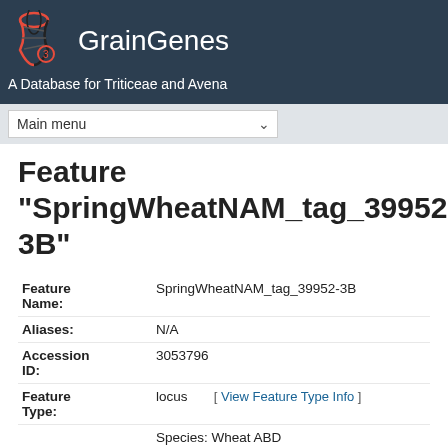GrainGenes — A Database for Triticeae and Avena
Feature "SpringWheatNAM_tag_39952-3B"
| Field | Value |
| --- | --- |
| Feature Name: | SpringWheatNAM_tag_39952-3B |
| Aliases: | N/A |
| Accession ID: | 3053796 |
| Feature Type: | locus    [ View Feature Type Info ] |
|  | Species: Wheat ABD
Map Set: Wheat-2018-NAM27_Berkut x ... |